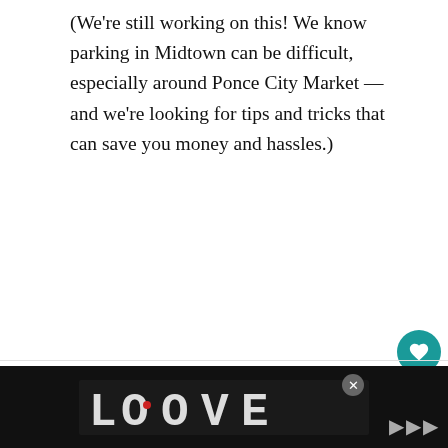(We're still working on this! We know parking in Midtown can be difficult, especially around Ponce City Market — and we're looking for tips and tricks that can save you money and hassles.)
More FREE outdoor summer concerts:
Thursday, August 25, 2022
Dunwoody Food Truck Thursday with
[Figure (screenshot): Advertisement banner at bottom showing stylized 'LOOVE' text logo in decorative black and white illustration style, with a close button (×) and additional UI elements]